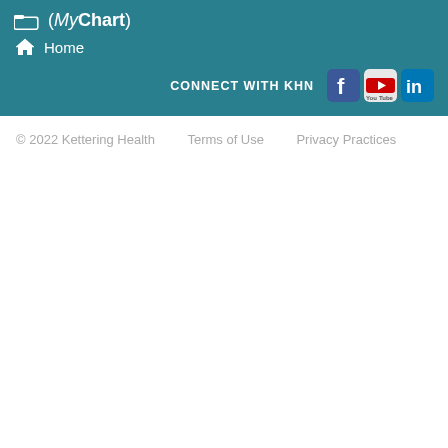(MyChart)
Home
CONNECT WITH KHN
© 2022 Kettering Health   Terms of Use   Privacy Practices